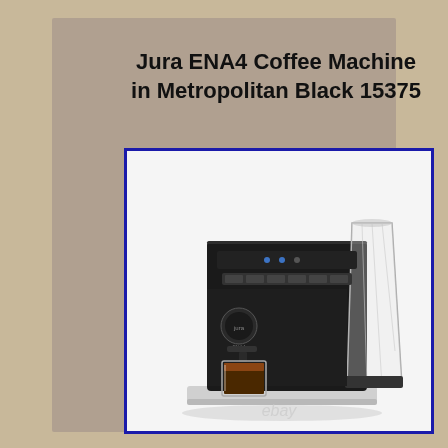Jura ENA4 Coffee Machine in Metropolitan Black 15375
[Figure (photo): Jura ENA4 coffee machine in Metropolitan Black color with a glass of espresso on the drip tray, shown with the bean hopper on the right side. eBay watermark visible.]